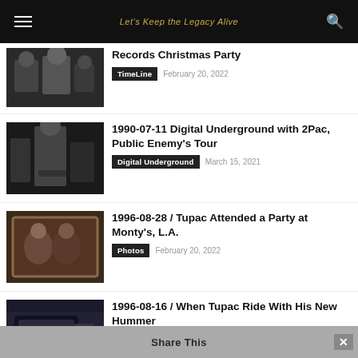Let's Keep the Legacy Alive
Records Christmas Party
TimeLine  February 20, 2022
1990-07-11 Digital Underground with 2Pac, Public Enemy's Tour
Digital Underground  March 15, 2021
1996-08-28 / Tupac Attended a Party at Monty's, L.A.
Photos  February 20, 2022
1996-08-16 / When Tupac Ride With His New Hummer
TimeLine  February 20, 2022
Unseen Mugshots Photo '95 and Prison Records (292 Pages)